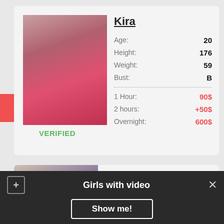[Figure (photo): Photo of a blonde woman in a pink dress]
VERIFIED
Kira
Age: 20
Height: 176
Weight: 59
Bust: B
1 Hour: 90$
2 hours: +50$
Overnight: 600$
[Figure (photo): Photo of a dark-haired woman taking a selfie]
Gabriella
Age: 26
Girls with video
Show me!